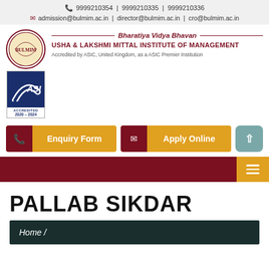📞 9999210354 | 9999210335 | 9999210336
✉ admission@bulmim.ac.in | director@bulmim.ac.in | cro@bulmim.ac.in
[Figure (logo): BULMIM circular logo with Bharatiya Vidya Bhavan branding and ASIC Accredited 2020-2024 badge]
Bharatiya Vidya Bhavan
USHA & LAKSHMI MITTAL INSTITUTE OF MANAGEMENT
Accredited by ASIC, United Kingdom, as a ASIC Premier Institution
Enquiry Form
Apply Online
PALLAB SIKDAR
Home /